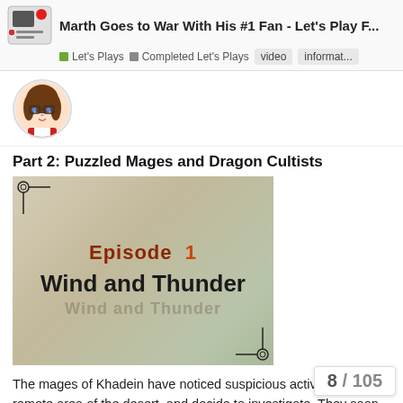Marth Goes to War With His #1 Fan - Let's Play F... | Let's Plays | Completed Let's Plays | video | informat...
[Figure (photo): Animated avatar of a female character with brown hair, glasses, and a white/red outfit]
Part 2: Puzzled Mages and Dragon Cultists
[Figure (screenshot): Game title card image showing 'Episode 1 Wind and Thunder' on a parchment-style background with decorative corners]
The mages of Khadein have noticed suspicious activity in a remote area of the desert, and decide to investigate. They soon discover the hideout of the Heretic Bishops, a group of dark mages that followed Gharnef. Merric, Elrean, Linde and Etzel must defeat all of the cultists and st... just what are they doing in Khadein? Wha